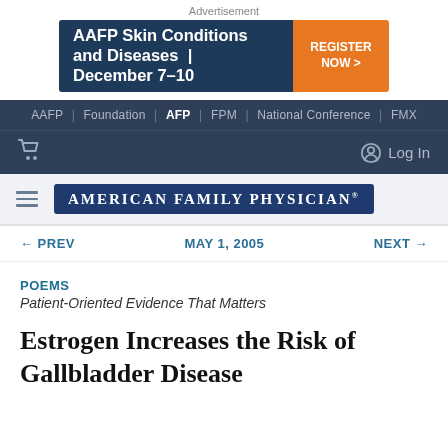Advertisement
[Figure (screenshot): AAFP Skin Conditions and Diseases | December 7-10 advertisement banner with Register Now button]
AAFP | Foundation | AFP | FPM | National Conference | FMX
[Figure (logo): American Family Physician logo in dark blue box]
← PREV   MAY 1, 2005   NEXT →
POEMS
Patient-Oriented Evidence That Matters
Estrogen Increases the Risk of Gallbladder Disease